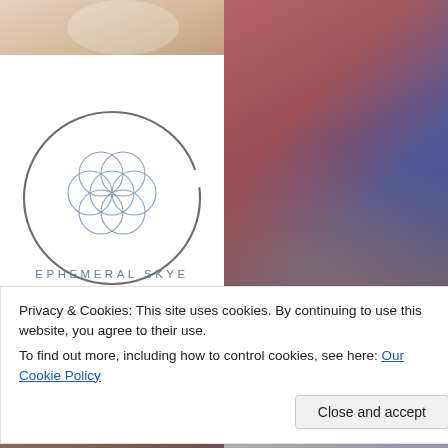[Figure (photo): Partial photo of a woman in white lace top, top portion cropped, top-left]
[Figure (photo): Photo of a person in plaid shirt with tattoo and teal pendant necklace, right side spanning two rows]
[Figure (logo): Ephemeral Skye logo: circular brushstroke with geometric flower/mandala pattern inside and text 'EPHEMERAL SKYE' below it]
[Figure (photo): Partial photo of a woman with dark hair, bottom-left, partially obscured by cookie banner]
[Figure (photo): Blurred/motion-blurred photo bottom-right, partially obscured by cookie banner]
Privacy & Cookies: This site uses cookies. By continuing to use this website, you agree to their use.
To find out more, including how to control cookies, see here: Our Cookie Policy
Close and accept